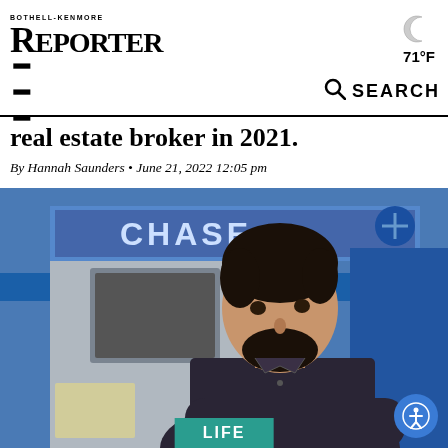BOTHELL-KENMORE REPORTER
71°F
☰  🔍 SEARCH
real estate broker in 2021.
By Hannah Saunders • June 21, 2022 12:05 pm
[Figure (photo): A young man with dark hair and beard, arms crossed, standing in front of a Chase bank ATM. A teal 'LIFE' label appears at the bottom center of the image.]